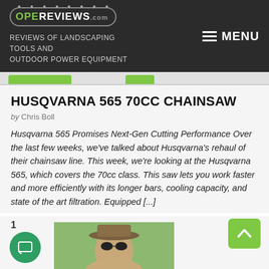OPEREVIEWS.com — REVIEWS OF LANDSCAPING TOOLS AND OUTDOOR POWER EQUIPMENT   MENU
HUSQVARNA 565 70CC CHAINSAW
by Chris Boll
Husqvarna 565 Promises Next-Gen Cutting Performance Over the last few weeks, we've talked about Husqvarna's rehaul of their chainsaw line. This week, we're looking at the Husqvarna 565, which covers the 70cc class. This saw lets you work faster and more efficiently with its longer bars, cooling capacity, and state of the art filtration. Equipped [...]
[Figure (screenshot): Bottom portion showing page number 1, green scroll-to-top arrow button, green chat button, and partial photo of a person wearing a cap and sunglasses outdoors]